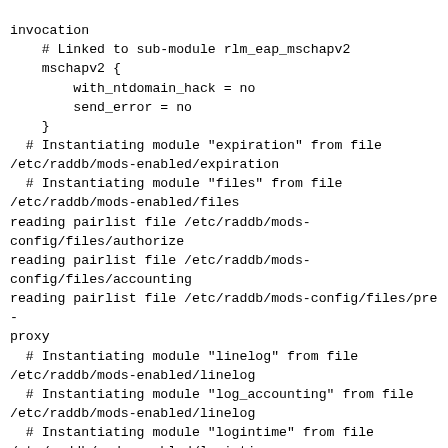invocation
    # Linked to sub-module rlm_eap_mschapv2
    mschapv2 {
        with_ntdomain_hack = no
        send_error = no
    }
  # Instantiating module "expiration" from file
/etc/raddb/mods-enabled/expiration
  # Instantiating module "files" from file
/etc/raddb/mods-enabled/files
reading pairlist file /etc/raddb/mods-config/files/authorize
reading pairlist file /etc/raddb/mods-config/files/accounting
reading pairlist file /etc/raddb/mods-config/files/pre-proxy
  # Instantiating module "linelog" from file
/etc/raddb/mods-enabled/linelog
  # Instantiating module "log_accounting" from file
/etc/raddb/mods-enabled/linelog
  # Instantiating module "logintime" from file
/etc/raddb/mods-enabled/logintime
  # Instantiating module "mschap" from file
/etc/raddb/mods-enabled/mschap
rlm_mschap (mschap): using internal authentication
  # Instantiating module "pap" from file
/etc/raddb/mods-enabled/pap
  # Instantiating module "etc_passwd" from file
/etc/raddb/mods-enabled/passwd
rlm_passwd: nfields: 3 keyfield 0(User-Name) listable: